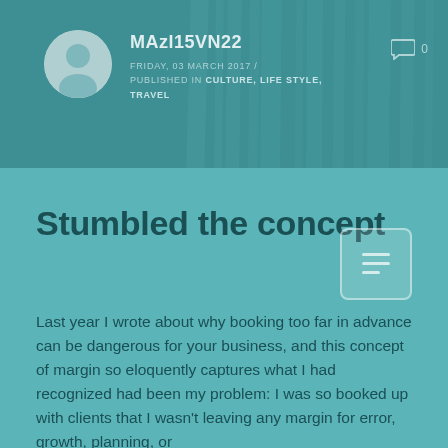MAzl15VN22 / FRIDAY, 03 MARCH 2017 / PUBLISHED IN CULTURE, LIFE STYLE, TRAVEL
Stumbled the concept
Last year I wrote about why booking too far in advance can be dangerous for your business, and this concept of margin so eloquently captures what I had recognized had been my problem: I was so booked up with clients that I wasn't leaving any margin for error, growth, planning, or